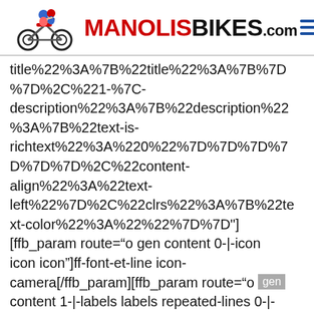MANOLISBIKES.com
title%22%3A%7B%22title%22%3A%7B%7D%7D%2C%221-%7C-description%22%3A%7B%22description%22%3A%7B%22text-is-richtext%22%3A%220%22%7D%7D%7D%7D%7D%2C%22content-align%22%3A%22text-left%22%7D%2C%22clrs%22%3A%7B%22text-color%22%3A%22%22%7D%7D"] [ffb_param route="o gen content 0-|-icon icon icon"]ff-font-et-line icon-camera[/ffb_param][ffb_param route="o gen content 1-|-labels labels repeated-lines 0-|-title title text"]Insurrance[/ffb_param]